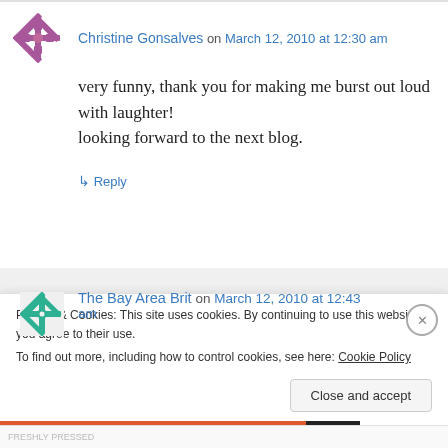Christine Gonsalves on March 12, 2010 at 12:30 am
very funny, thank you for making me burst out loud with laughter!
looking forward to the next blog.
↳ Reply
The Bay Area Brit on March 12, 2010 at 12:43 am
Privacy & Cookies: This site uses cookies. By continuing to use this website, you agree to their use.
To find out more, including how to control cookies, see here: Cookie Policy